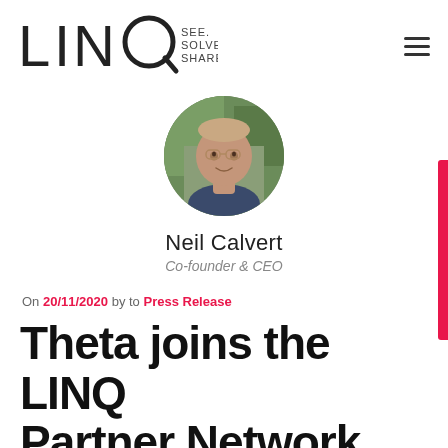LINQ SEE. SOLVE. SHARE.
[Figure (photo): Circular headshot photo of Neil Calvert, a middle-aged man with short hair, wearing a dark dotted shirt, smiling, with green foliage in the background.]
Neil Calvert
Co-founder & CEO
On 20/11/2020 by to Press Release
Theta joins the LINQ Partner Network